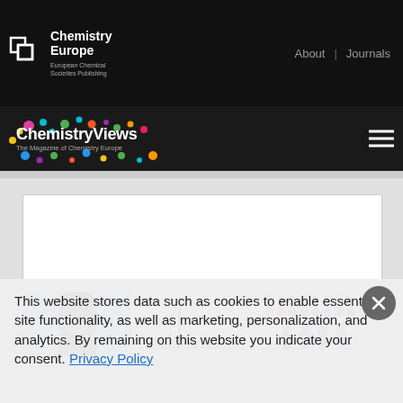Chemistry Europe | European Chemical Societies Publishing | About | Journals
[Figure (logo): ChemistryViews logo with colorful dots and tagline 'The Magazine of Chemistry Europe']
[Figure (photo): Person in winter gear bending down outdoors with blue sky background]
[Figure (continuous-plot): Mass spectrometry chart with peaks and label [C2F5]-, with a flag marker on tallest peak, x-axis labeled min]
[Figure (continuous-plot): Polymer chain diagram with colored circles and bar chart showing intensity peaks]
This website stores data such as cookies to enable essential site functionality, as well as marketing, personalization, and analytics. By remaining on this website you indicate your consent. Privacy Policy